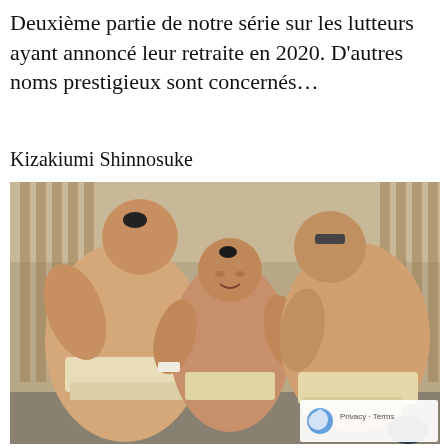Deuxième partie de notre série sur les lutteurs ayant annoncé leur retraite en 2020. D'autres noms prestigieux sont concernés...
Kizakiumi Shinnosuke
[Figure (photo): Three sumo wrestlers wearing mawashi (traditional sumo belts) standing together in what appears to be a locker room or indoor facility with wooden slat walls. The wrestlers are large and heavyset. One wrestler on the left has his back to the camera, one in the center faces forward, and one on the right faces partially toward the center.]
Privacy · Terms